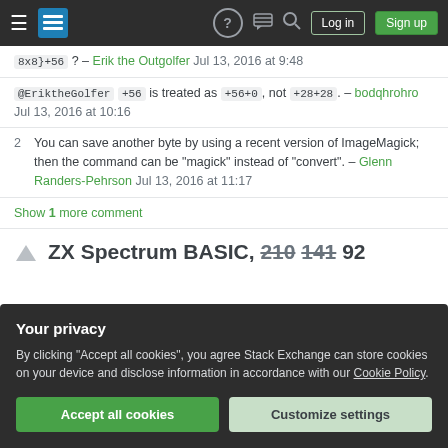Stack Exchange navigation bar with hamburger, logo, help, chat, search icons, Log in and Sign up buttons
8x8}+56 ? – Erik the Outgolfer Jul 13, 2016 at 9:48
@EriktheGolfer +56 is treated as +56+0, not +28+28. – bodqhrohro Jul 13, 2016 at 10:16
2  You can save another byte by using a recent version of ImageMagick; then the command can be "magick" instead of "convert". – Glenn Randers-Pehrson Jul 13, 2016 at 11:17
Show 1 more comment
ZX Spectrum BASIC, 210 141 92
Your privacy
By clicking "Accept all cookies", you agree Stack Exchange can store cookies on your device and disclose information in accordance with our Cookie Policy.
Accept all cookies
Customize settings